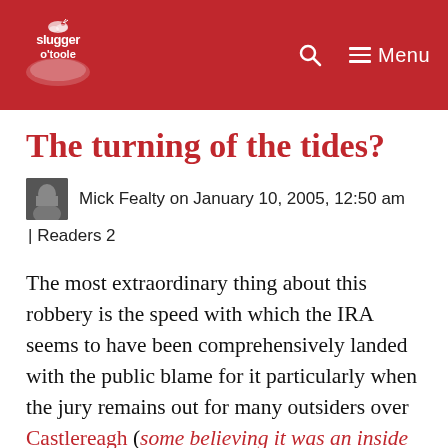slugger o'toole | Menu
The turning of the tides?
Mick Fealty on January 10, 2005, 12:50 am | Readers 2
The most extraordinary thing about this robbery is the speed with which the IRA seems to have been comprehensively landed with the public blame for it particularly when the jury remains out for many outsiders over Castlereagh (some believing it was an inside job), Colombia and Stormontgate. Perhaps, evidence will emerge that exonerates that organisation, but given the